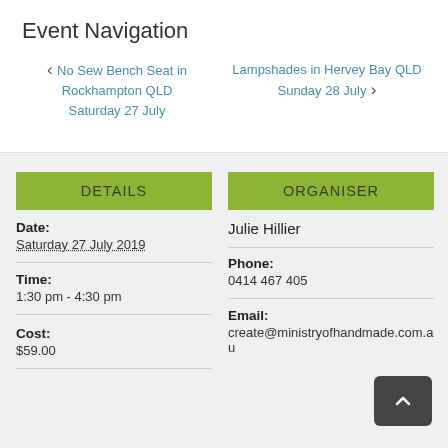Event Navigation
< No Sew Bench Seat in Rockhampton QLD Saturday 27 July
Lampshades in Hervey Bay QLD Sunday 28 July >
DETAILS
ORGANISER
Date:
Saturday 27 July 2019
Time:
1:30 pm - 4:30 pm
Cost:
$59.00
Julie Hillier
Phone:
0414 467 405
Email:
create@ministryofhandmade.com.au